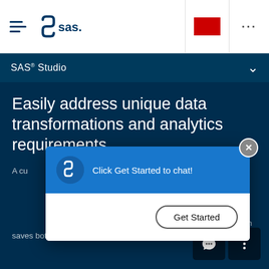[Figure (screenshot): SAS website navigation bar with hamburger menu and SAS logo on left, red rectangle and three-dots icon on right]
SAS® Studio
Easily address unique data transformations and analytics requirements.
A cu... y create a user... ddress unique data... ts. Once custo... saved and sha... reuse of custom transformations, which saves both time and resources.
[Figure (screenshot): Chat popup overlay with SAS logo, 'Click Get Started to chat!' message in blue header, close button, and 'Get Started' button]